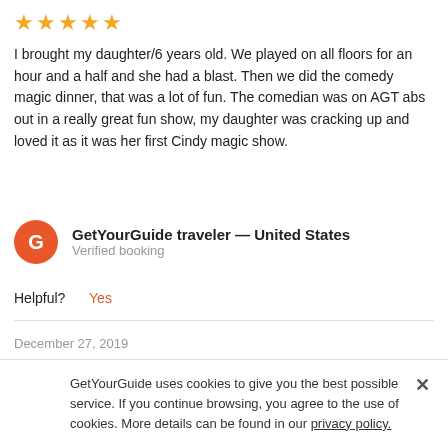[Figure (other): 5 gold stars rating]
I brought my daughter/6 years old. We played on all floors for an hour and a half and she had a blast. Then we did the comedy magic dinner, that was a lot of fun. The comedian was on AGT abs out in a really great fun show, my daughter was cracking up and loved it as it was her first Cindy magic show.
GetYourGuide traveler — United States
Verified booking
Helpful?   Yes
December 27, 2019
[Figure (other): 3 out of 5 gold stars rating]
I found the dinner and the show pleasant, the delicious pizzas, and they also serve green salad which is much appreciated, the only
GetYourGuide uses cookies to give you the best possible service. If you continue browsing, you agree to the use of cookies. More details can be found in our privacy policy.